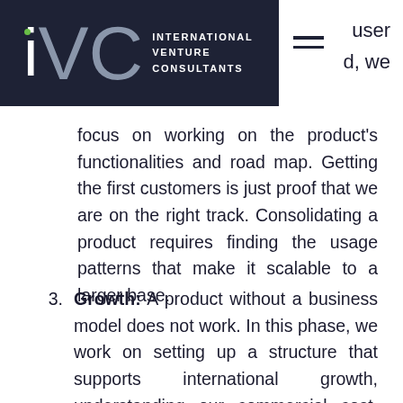IVC INTERNATIONAL VENTURE CONSULTANTS
user d, we focus on working on the product's functionalities and road map. Getting the first customers is just proof that we are on the right track. Consolidating a product requires finding the usage patterns that make it scalable to a larger base.
3. Growth: A product without a business model does not work. In this phase, we work on setting up a structure that supports international growth, understanding our commercial cost, acquisition channels and